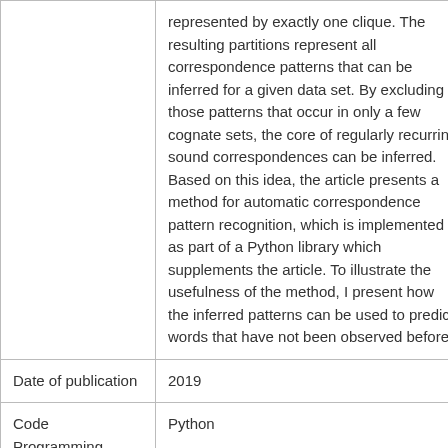|  | represented by exactly one clique. The resulting partitions represent all correspondence patterns that can be inferred for a given data set. By excluding those patterns that occur in only a few cognate sets, the core of regularly recurring sound correspondences can be inferred. Based on this idea, the article presents a method for automatic correspondence pattern recognition, which is implemented as part of a Python library which supplements the article. To illustrate the usefulness of the method, I present how the inferred patterns can be used to predict words that have not been observed before. |
| Date of publication | 2019 |
| Code Programming Language | Python |
|  |  |